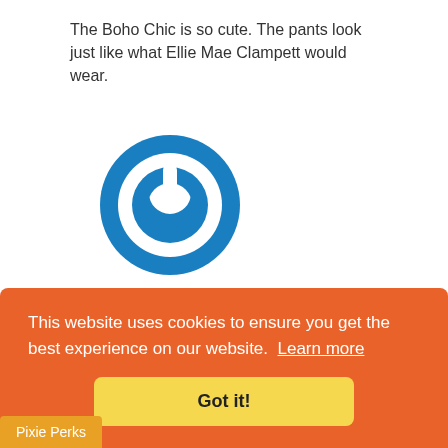The Boho Chic is so cute. The pants look just like what Ellie Mae Clampett would wear.
[Figure (logo): Blue circular power button icon — user avatar placeholder]
shannon
April 09, 2019
I love these! I really have a hard time
This website uses cookies to ensure you get the best experience on our website.  Learn more
Got it!
Pixie Perks